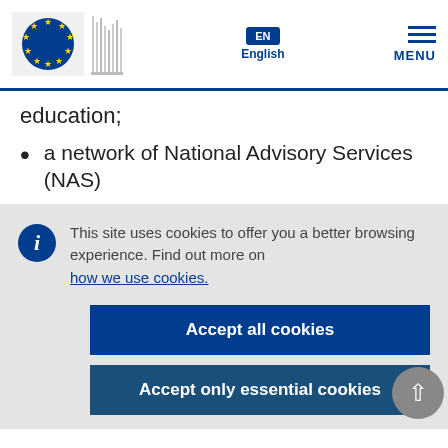[Figure (logo): European Commission logo with EU flag (circle of stars) and building silhouette]
EN English
MENU
education;
a network of National Advisory Services (NAS)
This site uses cookies to offer you a better browsing experience. Find out more on how we use cookies.
Accept all cookies
Accept only essential cookies